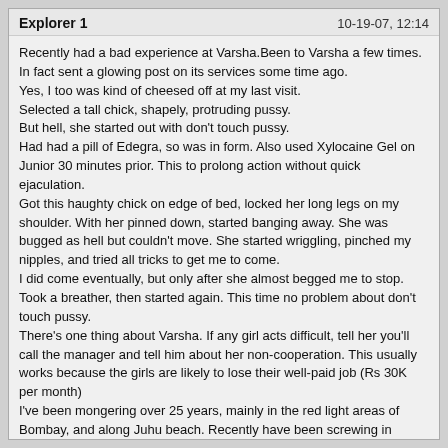Explorer 1   10-19-07, 12:14
Recently had a bad experience at Varsha.Been to Varsha a few times. In fact sent a glowing post on its services some time ago.
Yes, I too was kind of cheesed off at my last visit.
Selected a tall chick, shapely, protruding pussy.
But hell, she started out with don't touch pussy.
Had had a pill of Edegra, so was in form. Also used Xylocaine Gel on Junior 30 minutes prior. This to prolong action without quick ejaculation.
Got this haughty chick on edge of bed, locked her long legs on my shoulder. With her pinned down, started banging away. She was bugged as hell but couldn't move. She started wriggling, pinched my nipples, and tried all tricks to get me to come.
I did come eventually, but only after she almost begged me to stop.
Took a breather, then started again. This time no problem about don't touch pussy.
There's one thing about Varsha. If any girl acts difficult, tell her you'll call the manager and tell him about her non-cooperation. This usually works because the girls are likely to lose their well-paid job (Rs 30K per month)
I've been mongering over 25 years, mainly in the red light areas of Bombay, and along Juhu beach. Recently have been screwing in Bangalore.
We could exchange notes if you like, but I usually pick up an available lady rather than go through pimps.
Cheers
Explorer 1